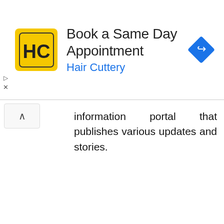[Figure (screenshot): Advertisement banner for Hair Cuttery: 'Book a Same Day Appointment' with yellow HC logo on left and blue navigation icon on right]
information portal that publishes various updates and stories.